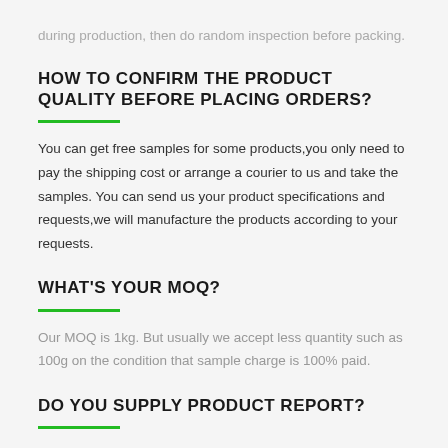during production, then do random inspection before packing.
HOW TO CONFIRM THE PRODUCT QUALITY BEFORE PLACING ORDERS?
You can get free samples for some products,you only need to pay the shipping cost or arrange a courier to us and take the samples. You can send us your product specifications and requests,we will manufacture the products according to your requests.
WHAT'S YOUR MOQ?
Our MOQ is 1kg. But usually we accept less quantity such as 100g on the condition that sample charge is 100% paid.
DO YOU SUPPLY PRODUCT REPORT?